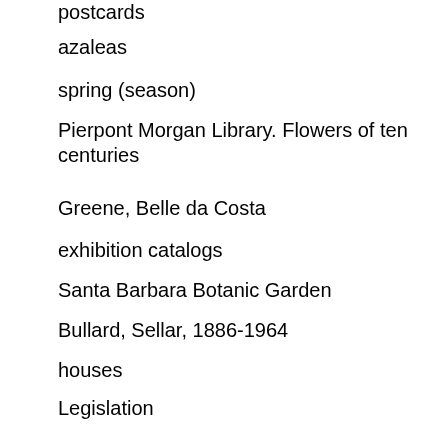postcards
azaleas
spring (season)
Pierpont Morgan Library. Flowers of ten centuries
Greene, Belle da Costa
exhibition catalogs
Santa Barbara Botanic Garden
Bullard, Sellar, 1886-1964
houses
Legislation
Farrand, Max, 1869-1945. Benjamin Franklin's memoirs
bibliographies
Harvard University. Department of Landscape Architecture
Massachusetts Horticultural Society. Library